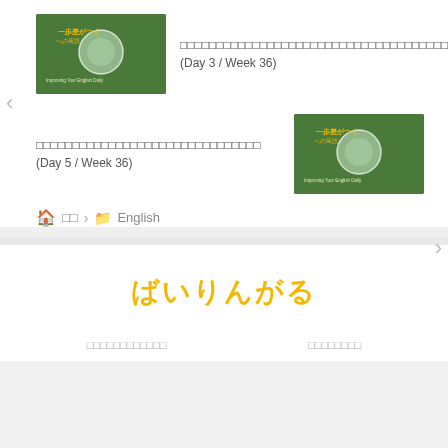[Figure (screenshot): Thumbnail image: green grass background with a translucent globe bubble and Japanese text overlay reading 一歩差がつくへの英語 / Improving Your English Daily]
□□□□□□□□□□□□□□□□□□□□□□□□□□□□□□□□□□□□□□□□□□□ (Day 3 / Week 36)
□□□□□□□□□□□□□□□□□□□□□□□□□□□□□□□ (Day 5 / Week 36)
[Figure (screenshot): Thumbnail image: green grass background with a translucent globe bubble and Japanese text overlay reading 一歩差がつくへの英語 / Improving Your English Daily]
🏠 □□ › 📁 English
ばいりんがる
□□□□□□□□□□□□
□□□□□□□□